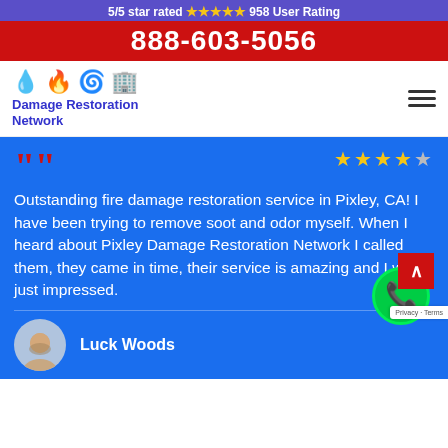5/5 star rated ⭐⭐⭐⭐⭐ 958 User Rating
888-603-5056
[Figure (logo): Damage Restoration Network logo with water drop, fire, storm, and building icons]
Outstanding fire damage restoration service in Pixley, CA! I have been trying to remove soot and odor myself. When I heard about Pixley Damage Restoration Network I called them, they came in time, their service is amazing and I was just impressed.
Luck Woods